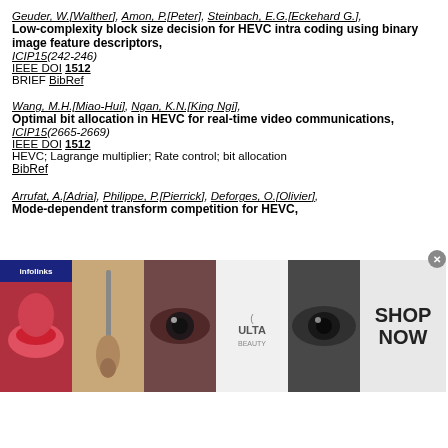Geuder, W.[Walther], Amon, P.[Peter], Steinbach, E.G.[Eckehard G.], Low-complexity block size decision for HEVC intra coding using binary image feature descriptors, ICIP15(242-246) IEEE DOI 1512 BRIEF BibRef
Wang, M.H.[Miao-Hui], Ngan, K.N.[King Ngi], Optimal bit allocation in HEVC for real-time video communications, ICIP15(2665-2669) IEEE DOI 1512 HEVC; Lagrange multiplier; Rate control; bit allocation BibRef
Arrufat, A.[Adria], Philippe, P.[Pierrick], Deforges, O.[Olivier], Mode-dependent transform competition for HEVC, ICIP15(1588-1592)...
[Figure (photo): Ulta Beauty advertisement banner with makeup/beauty images and SHOP NOW text]